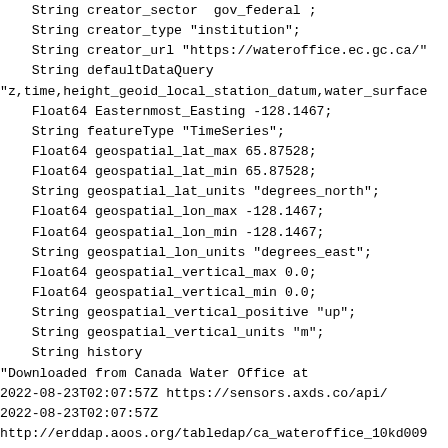String creator_sector "gov_federal";
    String creator_type "institution";
    String creator_url "https://wateroffice.ec.gc.ca/"
    String defaultDataQuery
"z,time,height_geoid_local_station_datum,water_surface
    Float64 Easternmost_Easting -128.1467;
    String featureType "TimeSeries";
    Float64 geospatial_lat_max 65.87528;
    Float64 geospatial_lat_min 65.87528;
    String geospatial_lat_units "degrees_north";
    Float64 geospatial_lon_max -128.1467;
    Float64 geospatial_lon_min -128.1467;
    String geospatial_lon_units "degrees_east";
    Float64 geospatial_vertical_max 0.0;
    Float64 geospatial_vertical_min 0.0;
    String geospatial_vertical_positive "up";
    String geospatial_vertical_units "m";
    String history
"Downloaded from Canada Water Office at
2022-08-23T02:07:57Z https://sensors.axds.co/api/
2022-08-23T02:07:57Z
http://erddap.aoos.org/tabledap/ca_wateroffice_10kd009
    Int32 id 56131;
    String infoUrl "https://portal.aoos.org/#metadata/
    String institution "Canada Water Office";
    String license